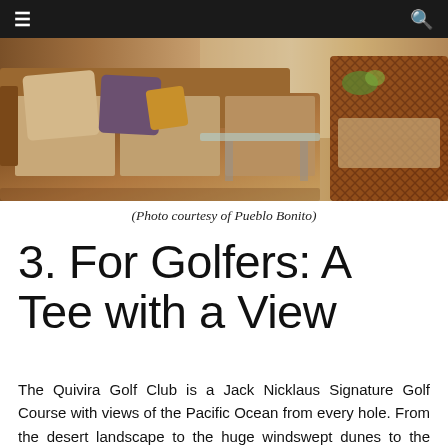≡  🔍
[Figure (photo): Interior lounge area with a large beige sofa with pillows, wooden furniture, and a wicker chair on the right, in warm natural lighting.]
(Photo courtesy of Pueblo Bonito)
3. For Golfers: A Tee with a View
The Quivira Golf Club is a Jack Nicklaus Signature Golf Course with views of the Pacific Ocean from every hole. From the desert landscape to the huge windswept dunes to the sheer granite cliffs, this course offers a world-class layout that will challenge